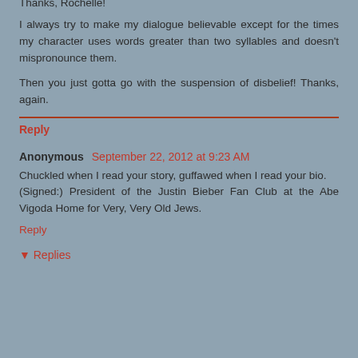Thanks, Rochelle!
I always try to make my dialogue believable except for the times my character uses words greater than two syllables and doesn't mispronounce them.
Then you just gotta go with the suspension of disbelief! Thanks, again.
Reply
Anonymous September 22, 2012 at 9:23 AM
Chuckled when I read your story, guffawed when I read your bio.
(Signed:) President of the Justin Bieber Fan Club at the Abe Vigoda Home for Very, Very Old Jews.
Reply
Replies